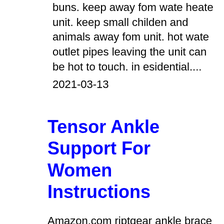buns. keep away fom wate heate unit. keep small childen and animals away fom unit. hot wate outlet pipes leaving the unit can be hot to touch. in esidential....
2021-03-13
Tensor Ankle Support For Women Instructions
Amazon.com riptgear ankle brace for women and men. The description advises small to medium size ankle but the fit is way too small. the ankle support actually hurts my foot if i try to wear it while walking which was the